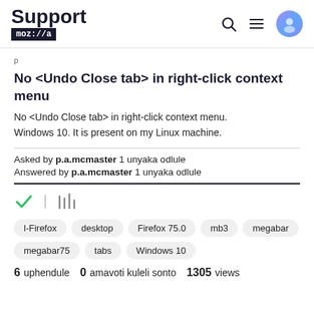Support moz://a
No <Undo Close tab> in right-click context menu
No <Undo Close tab> in right-click context menu. Windows 10. It is present on my Linux machine.
Asked by p.a.mcmaster 1 unyaka odlule
Answered by p.a.mcmaster 1 unyaka odlule
[Figure (other): Check mark icon and library/stack icon]
l-Firefox  desktop  Firefox 75.0  mb3  megabar  megabar75  tabs  Windows 10
6 uphendule  0 amavoti kuleli sonto  1305 views